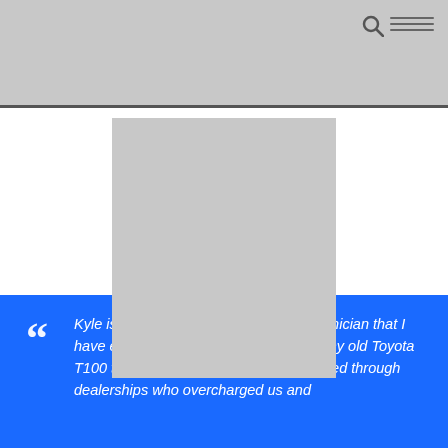[Figure (photo): Gray placeholder image/photo, centered on the page, square-ish format]
“Kyle is the most trusted automotive technician that I have ever had the pleasure of sending my old Toyota T100 to. While living out of Iowa we cycled through dealerships who overcharged us and